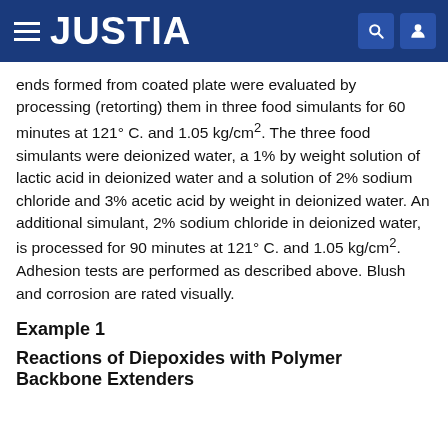JUSTIA
ends formed from coated plate were evaluated by processing (retorting) them in three food simulants for 60 minutes at 121° C. and 1.05 kg/cm2. The three food simulants were deionized water, a 1% by weight solution of lactic acid in deionized water and a solution of 2% sodium chloride and 3% acetic acid by weight in deionized water. An additional simulant, 2% sodium chloride in deionized water, is processed for 90 minutes at 121° C. and 1.05 kg/cm2. Adhesion tests are performed as described above. Blush and corrosion are rated visually.
Example 1
Reactions of Diepoxides with Polymer Backbone Extenders